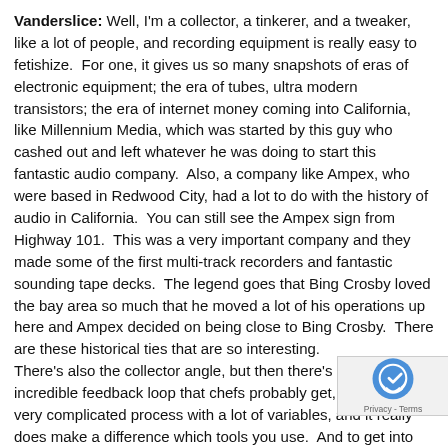Vanderslice: Well, I'm a collector, a tinkerer, and a tweaker, like a lot of people, and recording equipment is really easy to fetishize. For one, it gives us so many snapshots of eras of electronic equipment; the era of tubes, ultra modern transistors; the era of internet money coming into California, like Millennium Media, which was started by this guy who cashed out and left whatever he was doing to start this fantastic audio company. Also, a company like Ampex, who were based in Redwood City, had a lot to do with the history of audio in California. You can still see the Ampex sign from Highway 101. This was a very important company and they made some of the first multi-track recorders and fantastic sounding tape decks. The legend goes that Bing Crosby loved the bay area so much that he moved a lot of his operations up here and Ampex decided on being close to Bing Crosby. There are these historical ties that are so interesting. There's also the collector angle, but then there's also this incredible feedback loop that chefs probably get, too. It's a very complicated process with a lot of variables, and it really does make a difference which tools you use. And to get into listening – it's a skill – and it's a really hard thing to learn. It's very difficult to just concentrate and really listen so that you can figure out what the involvement of a piece of gear is in the whole audio chain. There's also some very interesting scientific stuff, both trial and error and experimentation